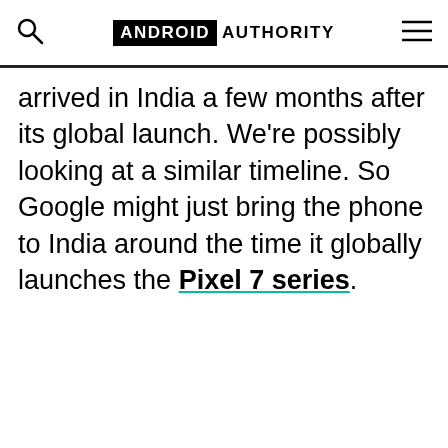ANDROID AUTHORITY
arrived in India a few months after its global launch. We're possibly looking at a similar timeline. So Google might just bring the phone to India around the time it globally launches the Pixel 7 series.